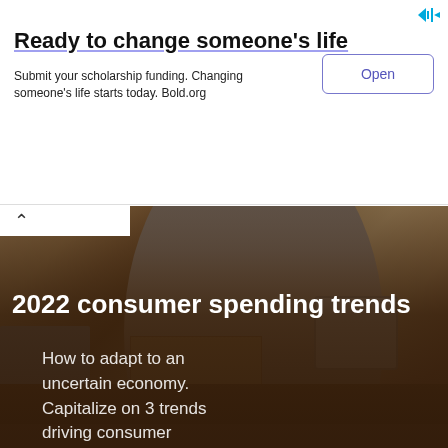[Figure (infographic): Advertisement banner: 'Ready to change someone's life' with 'Open' button. Bold.org scholarship funding ad.]
Ready to change someone's life
Submit your scholarship funding. Changing someone's life starts today. Bold.org
[Figure (photo): Hero photo of a woman in a gray sweater leaning over a wooden table with an open cardboard box, a tablet device, folded clothes, and various items. Wooden shelving visible in background. Brown/warm tones.]
2022 consumer spending trends
How to adapt to an uncertain economy. Capitalize on 3 trends driving consumer